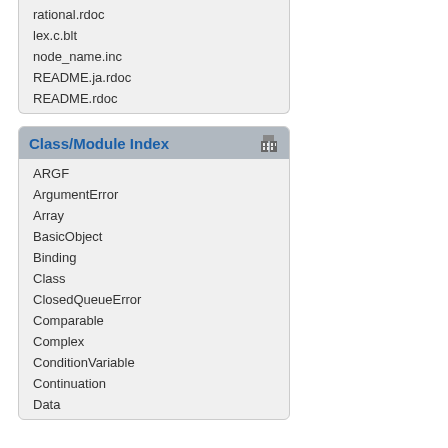rational.rdoc
lex.c.blt
node_name.inc
README.ja.rdoc
README.rdoc
Class/Module Index
ARGF
ArgumentError
Array
BasicObject
Binding
Class
ClosedQueueError
Comparable
Complex
ConditionVariable
Continuation
Data